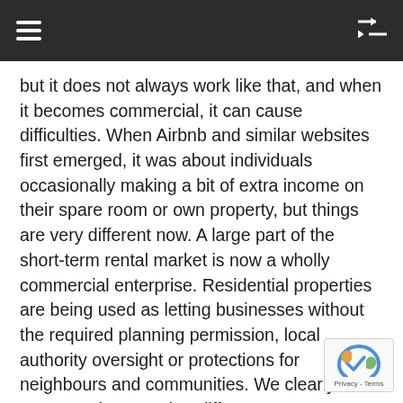≡  ⇌
but it does not always work like that, and when it becomes commercial, it can cause difficulties. When Airbnb and similar websites first emerged, it was about individuals occasionally making a bit of extra income on their spare room or own property, but things are very different now. A large part of the short-term rental market is now a wholly commercial enterprise. Residential properties are being used as letting businesses without the required planning permission, local authority oversight or protections for neighbours and communities. We clearly need to respond now to that different context.
Let us learn from the examples we have heard about from abroad. Let us look at the changes in